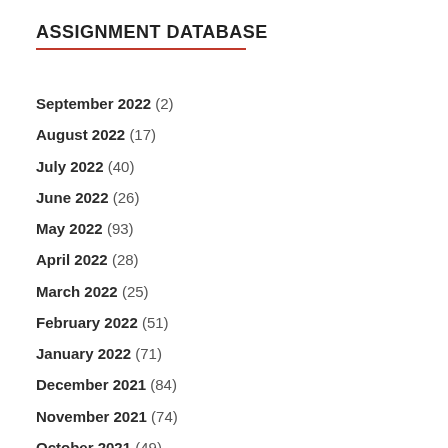ASSIGNMENT DATABASE
September 2022 (2)
August 2022 (17)
July 2022 (40)
June 2022 (26)
May 2022 (93)
April 2022 (28)
March 2022 (25)
February 2022 (51)
January 2022 (71)
December 2021 (84)
November 2021 (74)
October 2021 (49)